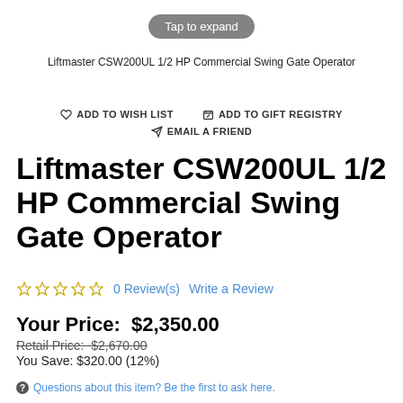[Figure (photo): Product image with 'Tap to expand' button overlay]
Liftmaster CSW200UL 1/2 HP Commercial Swing Gate Operator
ADD TO WISH LIST   ADD TO GIFT REGISTRY   EMAIL A FRIEND
Liftmaster CSW200UL 1/2 HP Commercial Swing Gate Operator
0 Review(s)   Write a Review
Your Price:  $2,350.00
Retail Price: $2,670.00
You Save: $320.00 (12%)
Questions about this item? Be the first to ask here.